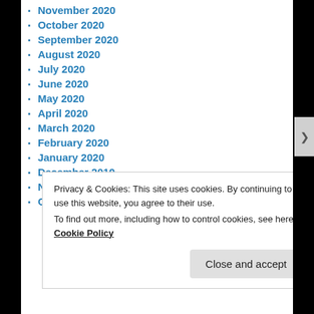November 2020
October 2020
September 2020
August 2020
July 2020
June 2020
May 2020
April 2020
March 2020
February 2020
January 2020
December 2019
November 2019
October 2019
Privacy & Cookies: This site uses cookies. By continuing to use this website, you agree to their use.
To find out more, including how to control cookies, see here: Cookie Policy